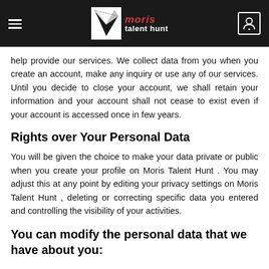Moris Talent Hunt – navigation header
help provide our services. We collect data from you when you create an account, make any inquiry or use any of our services. Until you decide to close your account, we shall retain your information and your account shall not cease to exist even if your account is accessed once in few years.
Rights over Your Personal Data
You will be given the choice to make your data private or public when you create your profile on Moris Talent Hunt . You may adjust this at any point by editing your privacy settings on Moris Talent Hunt , deleting or correcting specific data you entered and controlling the visibility of your activities.
You can modify the personal data that we have about you: